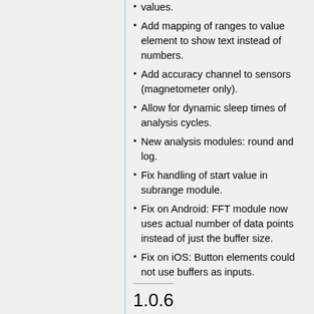values.
Add mapping of ranges to value element to show text instead of numbers.
Add accuracy channel to sensors (magnetometer only).
Allow for dynamic sleep times of analysis cycles.
New analysis modules: round and log.
Fix handling of start value in subrange module.
Fix on Android: FFT module now uses actual number of data points instead of just the buffer size.
Fix on iOS: Button elements could not use buffers as inputs.
1.0.6